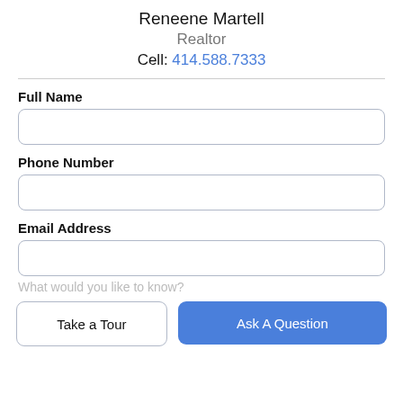Reneene Martell
Realtor
Cell: 414.588.7333
Full Name
Phone Number
Email Address
What would you like to know?
Take a Tour
Ask A Question